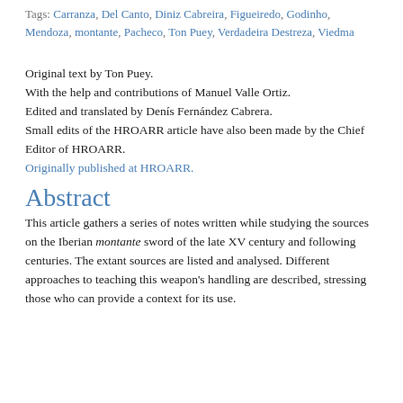Tags: Carranza, Del Canto, Diniz Cabreira, Figueiredo, Godinho, Mendoza, montante, Pacheco, Ton Puey, Verdadeira Destreza, Viedma
Original text by Ton Puey.
With the help and contributions of Manuel Valle Ortiz.
Edited and translated by Denís Fernández Cabrera.
Small edits of the HROARR article have also been made by the Chief Editor of HROARR.
Originally published at HROARR.
Abstract
This article gathers a series of notes written while studying the sources on the Iberian montante sword of the late XV century and following centuries. The extant sources are listed and analysed. Different approaches to teaching this weapon's handling are described, stressing those who can provide a context for its use.